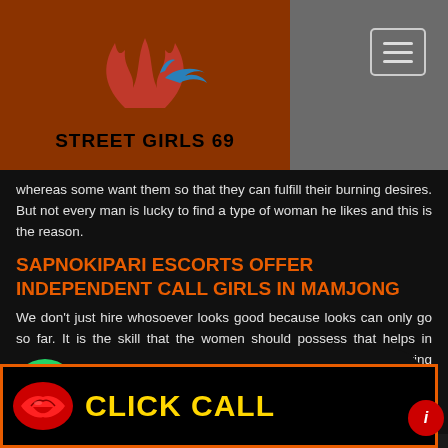[Figure (logo): Street Girls 69 logo with flame and bird on brown/orange background]
whereas some want them so that they can fulfill their burning desires. But not every man is lucky to find a type of woman he likes and this is the reason.
SAPNOKIPARI ESCORTS OFFER INDEPENDENT CALL GIRLS IN MAMJONG
We don't just hire whosoever looks good because looks can only go so far. It is the skill that the women should possess that helps in leaving a lasting impression. So, we indulge in a process of knowing every details of the women like their personality, attitude, and whether or not they have the magic to provide you with their companionship.
[Figure (infographic): Whatsapp contact overlay with phone number +91 7041729331]
ANCE MEETING
MJONG ESCORTS
ge providers and adult entertainers.
[Figure (infographic): CLICK CALL banner with lips icon]